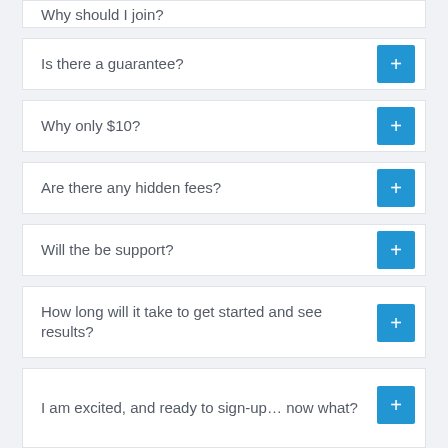Why should I join?
Is there a guarantee?
Why only $10?
Are there any hidden fees?
Will the be support?
How long will it take to get started and see results?
I am excited, and ready to sign-up… now what?